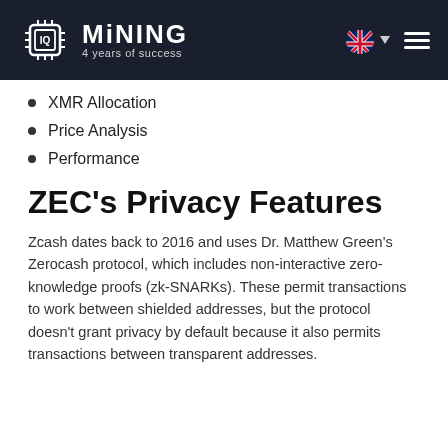IQ MINING — 4 years of success
XMR Allocation
Price Analysis
Performance
ZEC's Privacy Features
Zcash dates back to 2016 and uses Dr. Matthew Green's Zerocash protocol, which includes non-interactive zero-knowledge proofs (zk-SNARKs). These permit transactions to work between shielded addresses, but the protocol doesn't grant privacy by default because it also permits transactions between transparent addresses.